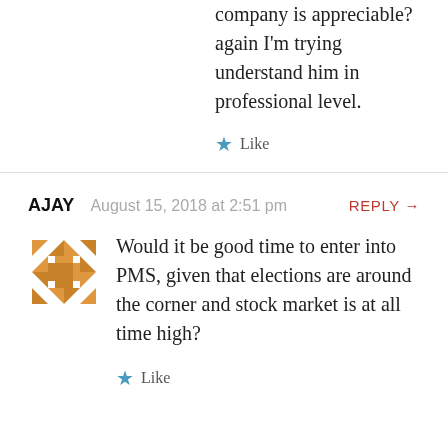company is appreciable? again I'm trying understand him in professional level.
Like
AJAY  August 15, 2018 at 2:51 pm  REPLY →
Would it be good time to enter into PMS, given that elections are around the corner and stock market is at all time high?
Like